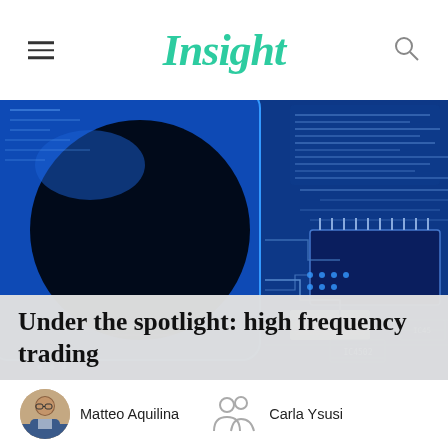Insight
[Figure (photo): Close-up photo of a blue electronic circuit board with microchips and circuit traces]
Under the spotlight: high frequency trading
Matteo Aquilina
Carla Ysusi